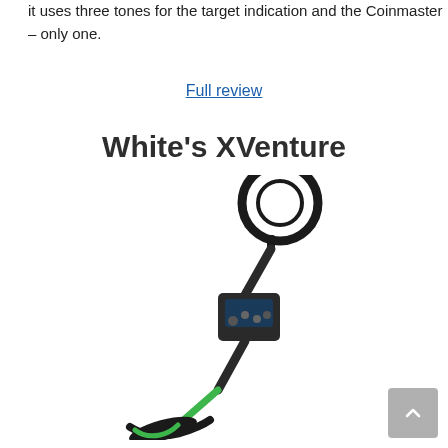it uses three tones for the target indication and the Coinmaster – only one.
Full review
White's XVenture
[Figure (photo): White's XVenture metal detector shown at an angle, with a round black search coil at top, a dark control box in the middle, and a bright green lower shaft and foot-bracket at the bottom.]